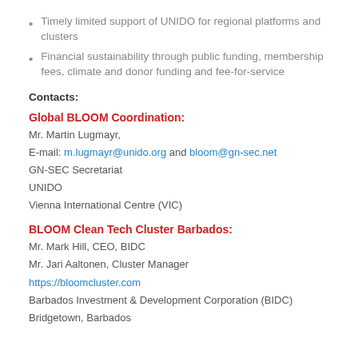Timely limited support of UNIDO for regional platforms and clusters
Financial sustainability through public funding, membership fees, climate and donor funding and fee-for-service
Contacts:
Global BLOOM Coordination:
Mr. Martin Lugmayr,
E-mail: m.lugmayr@unido.org and bloom@gn-sec.net
GN-SEC Secretariat
UNIDO
Vienna International Centre (VIC)
BLOOM Clean Tech Cluster Barbados:
Mr. Mark Hill, CEO, BIDC
Mr. Jari Aaltonen, Cluster Manager
https://bloomcluster.com
Barbados Investment & Development Corporation (BIDC)
Bridgetown, Barbados